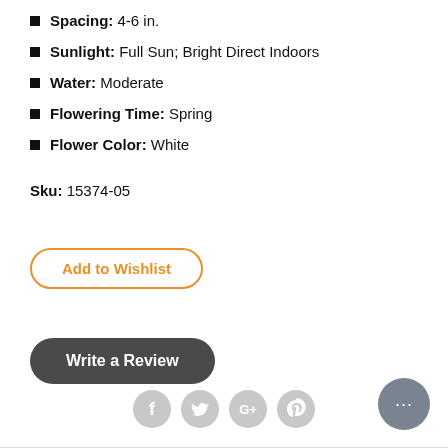Spacing: 4-6 in.
Sunlight: Full Sun; Bright Direct Indoors
Water: Moderate
Flowering Time: Spring
Flower Color: White
Sku: 15374-05
Add to Wishlist
Write a Review